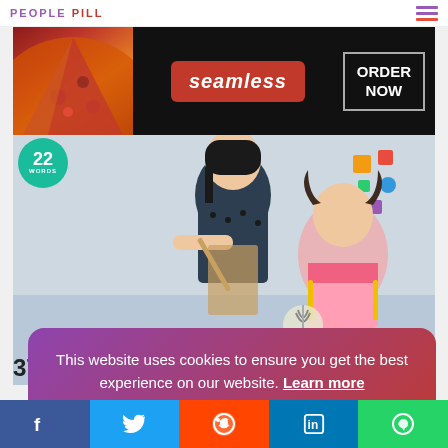[Figure (screenshot): Top navigation bar with People Pill logo text and hamburger menu icon with purple/red horizontal lines]
[Figure (screenshot): Seamless food delivery advertisement banner with pizza image on left, red Seamless logo in center, and ORDER NOW button in white border on right, dark background]
[Figure (photo): Mother and young daughter cooking together in kitchen, both smiling, wearing aprons, with a whisk and baking activity]
37 HOME AND KITCHEN
In 2009, Fren novel Jan Ka the Prix Inter novel
[Figure (screenshot): Cookie consent overlay with purple-to-pink gradient background. Text reads: This website uses cookies to ensure you get the best experience on our website. Learn more. Gold/orange Got it! button below.]
[Figure (screenshot): Bottom social sharing bar with Facebook (blue), Twitter (cyan), Reddit (orange), LinkedIn (blue), WhatsApp (green) icons]